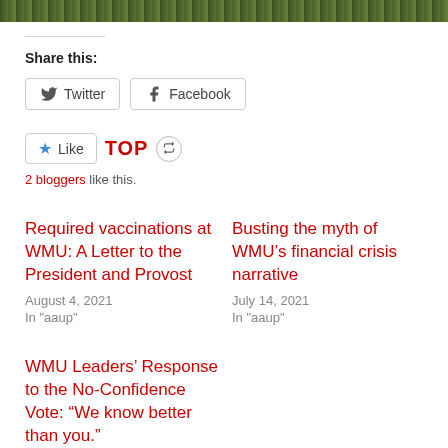[Figure (photo): Top portion of an outdoor nature/grass image, cropped at top of page]
Share this:
[Figure (other): Twitter and Facebook share buttons]
[Figure (other): Like button with star icon, TOP reblog icon, and reblog button]
2 bloggers like this.
Required vaccinations at WMU: A Letter to the President and Provost
August 4, 2021
In "aaup"
Busting the myth of WMU’s financial crisis narrative
July 14, 2021
In "aaup"
WMU Leaders’ Response to the No-Confidence Vote: “We know better than you.”